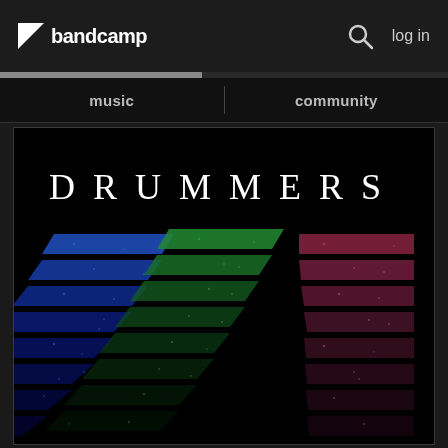bandcamp  log in
music  community
[Figure (illustration): Album cover for 'DRUMMERS' showing the text 'DRUMMERS' in spaced white lettering on a black background, with three columns of glowing diagonal stacked bars/slabs in blue (left), green (center), and red/pink (right), resembling equalizer bars or stacked records, set against a dark background.]